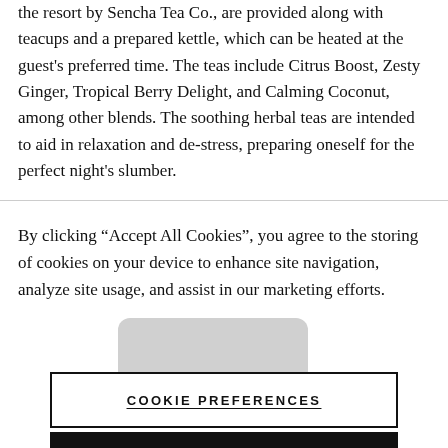the resort by Sencha Tea Co., are provided along with teacups and a prepared kettle, which can be heated at the guest's preferred time. The teas include Citrus Boost, Zesty Ginger, Tropical Berry Delight, and Calming Coconut, among other blends. The soothing herbal teas are intended to aid in relaxation and de-stress, preparing oneself for the perfect night's slumber.
By clicking “Accept All Cookies”, you agree to the storing of cookies on your device to enhance site navigation, analyze site usage, and assist in our marketing efforts.
[Figure (logo): Gray rounded rectangular logo placeholder]
COOKIE PREFERENCES
ACCEPT COOKIES